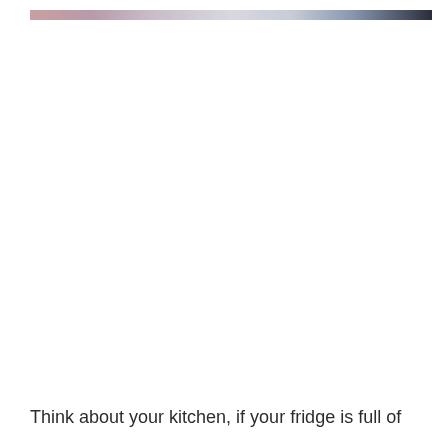[Figure (other): Horizontal decorative gradient bar transitioning from muted rose/mauve on the left through light gray/silver in the middle to dark navy/charcoal on the right.]
Think about your kitchen, if your fridge is full of